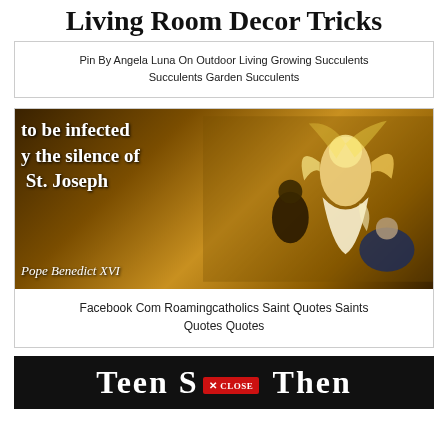Living Room Decor Tricks
Pin By Angela Luna On Outdoor Living Growing Succulents Succulents Garden Succulents
[Figure (photo): Painting of an angel appearing to St. Joseph with text overlay: 'to be infected by the silence of St. Joseph' and 'Pope Benedict XVI']
Facebook Com Roamingcatholics Saint Quotes Saints Quotes Quotes
[Figure (screenshot): Bottom banner with black background showing 'Teen S [CLOSE button] Then' in white bold text]